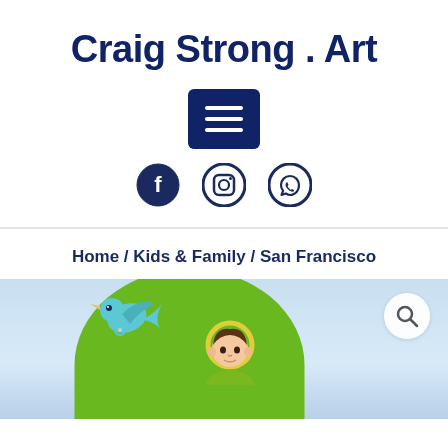Craig Strong . Art
[Figure (other): Hamburger menu button icon (three white horizontal lines on dark navy blue rounded rectangle background)]
[Figure (other): Three social media icons: Facebook (circle with f), Instagram (circle with camera), WhatsApp (circle with phone handset)]
Home / Kids & Family / San Francisco
[Figure (illustration): Partial view of a children's illustration showing a blue swallow bird on the left, a green rounded hill in the center, a saint or child figure with a yellow halo wearing a green robe peeking up from behind the hill. Light blue sky gradient background. A white circle with a search/magnify icon in the upper right corner.]